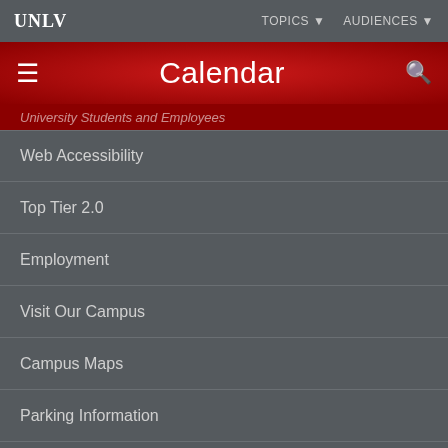UNLV | TOPICS ▼ AUDIENCES ▼
Calendar
University Students and Employees
Web Accessibility
Top Tier 2.0
Employment
Visit Our Campus
Campus Maps
Parking Information
News Center
Contact UNLV
University of Nevada, Las Vegas